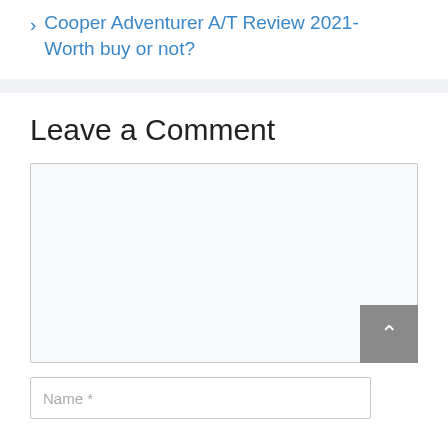› Cooper Adventurer A/T Review 2021- Worth buy or not?
Leave a Comment
Name *